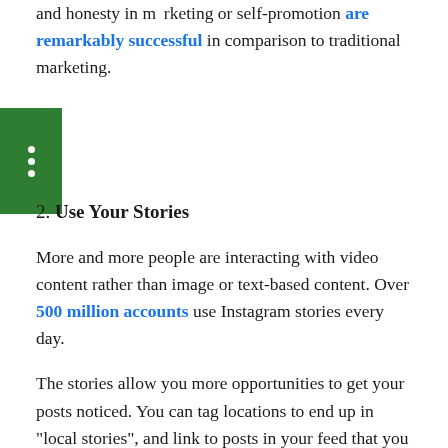and honesty in marketing or self-promotion are remarkably successful in comparison to traditional marketing.
[Figure (other): Green square icon with three vertical white dots (menu/options icon)]
2. Use Your Stories
More and more people are interacting with video content rather than image or text-based content. Over 500 million accounts use Instagram stories every day.
The stories allow you more opportunities to get your posts noticed. You can tag locations to end up in "local stories", and link to posts in your feed that you